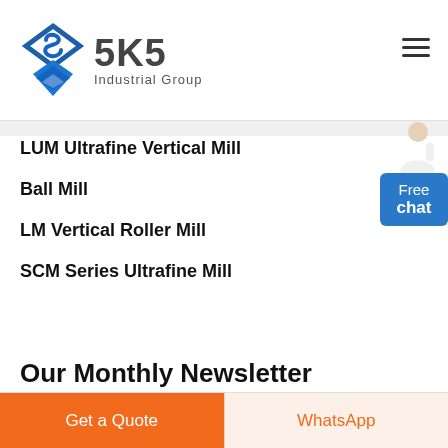[Figure (logo): SKS Industrial Group logo with blue diamond angular bracket symbol and dark gray SKS text with Industrial Group subtitle]
LUM Ultrafine Vertical Mill
Ball Mill
LM Vertical Roller Mill
SCM Series Ultrafine Mill
Our Monthly Newsletter
Get a Quote
WhatsApp